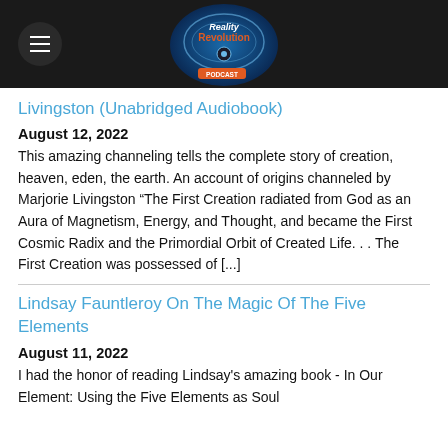Reality Revolution Podcast
Livingston (Unabridged Audiobook)
August 12, 2022
This amazing channeling tells the complete story of creation, heaven, eden, the earth. An account of origins channeled by Marjorie Livingston “The First Creation radiated from God as an Aura of Magnetism, Energy, and Thought, and became the First Cosmic Radix and the Primordial Orbit of Created Life. . . The First Creation was possessed of [...]
Lindsay Fauntleroy On The Magic Of The Five Elements
August 11, 2022
I had the honor of reading Lindsay's amazing book - In Our Element: Using the Five Elements as Soul